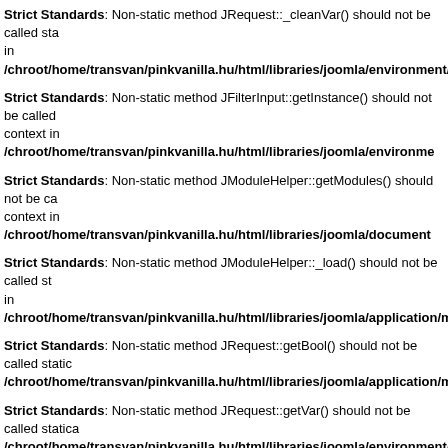Strict Standards: Non-static method JRequest::_cleanVar() should not be called statically in /chroot/home/transvan/pinkvanilla.hu/html/libraries/joomla/environment/requ...
Strict Standards: Non-static method JFilterInput::getInstance() should not be called static context in /chroot/home/transvan/pinkvanilla.hu/html/libraries/joomla/environme...
Strict Standards: Non-static method JModuleHelper::getModules() should not be called static context in /chroot/home/transvan/pinkvanilla.hu/html/libraries/joomla/document...
Strict Standards: Non-static method JModuleHelper::_load() should not be called statically in /chroot/home/transvan/pinkvanilla.hu/html/libraries/joomla/application/modu...
Strict Standards: Non-static method JRequest::getBool() should not be called statically /chroot/home/transvan/pinkvanilla.hu/html/libraries/joomla/application/module/...
Strict Standards: Non-static method JRequest::getVar() should not be called statically /chroot/home/transvan/pinkvanilla.hu/html/libraries/joomla/environment/reques...
Strict Standards: Non-static method JRequest::_cleanVar() should not be called statically in /chroot/home/transvan/pinkvanilla.hu/html/libraries/joomla/environment/requ...
Strict Standards: Non-static method JFilterInput::getInstance() should not be called static context in /chroot/home/transvan/pinkvanilla.hu/html/libraries/joomla/environme...
Strict Standards: Non-static method JFactory::getDocument() should not be called s on line 91
Strict Standards: Non-static method JModuleHelper::getModules() should not be ca...